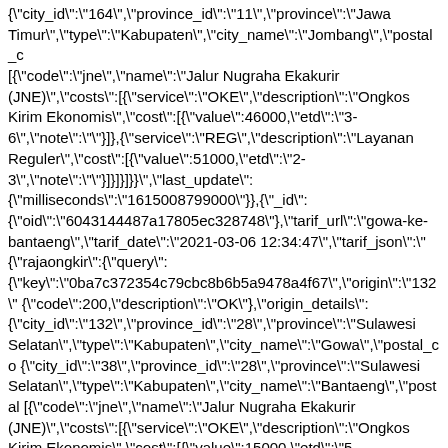{"city_id":"164","province_id":"11","province":"Jawa Timur","type":"Kabupaten","city_name":"Jombang","postal_c [{"code":"jne","name":"Jalur Nugraha Ekakurir (JNE)","costs":[{"service":"OKE","description":"Ongkos Kirim Ekonomis","cost":[{"value":46000,"etd":"3-6","note":""}]},{"service":"REG","description":"Layanan Reguler","cost":[{"value":51000,"etd":"2-3","note":""}]}]}]}}","last_update": {"milliseconds":"1615008799000"}},{"_id": {"oid":"6043144487a17805ec328748"},"tarif_url":"gowa-ke-bantaeng","tarif_date":"2021-03-06 12:34:47","tarif_json":"{"rajaongkir":{"query": {"key":"0ba7c372354c79cbc8b6b5a9478a4f67","origin":"132" {"code":200,"description":"OK"},"origin_details": {"city_id":"132","province_id":"28","province":"Sulawesi Selatan","type":"Kabupaten","city_name":"Gowa","postal_co {"city_id":"38","province_id":"28","province":"Sulawesi Selatan","type":"Kabupaten","city_name":"Bantaeng","postal [{"code":"jne","name":"Jalur Nugraha Ekakurir (JNE)","costs":[{"service":"OKE","description":"Ongkos Kirim Ekonomis","cost":[{"value":15000,"etd":"5-7","note":""}]},{"service":"REG","description":"Layanan Reguler","cost":[{"value":17000,"etd":"3-5","note":""}]}]}]}}","last_update": {"milliseconds":"1615008836000"}},{"_id":